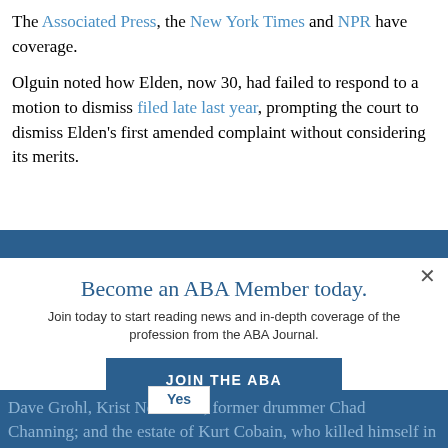The Associated Press, the New York Times and NPR have coverage.
Olguin noted how Elden, now 30, had failed to respond to a motion to dismiss filed late last year, prompting the court to dismiss Elden's first amended complaint without considering its merits.
Become an ABA Member today.
Join today to start reading news and in-depth coverage of the profession from the ABA Journal.
JOIN THE ABA
Already an ABA Member? Sign in
Yes
Dave Grohl, Krist Novoselic; former drummer Chad Channing; and the estate of Kurt Cobain, who killed himself in